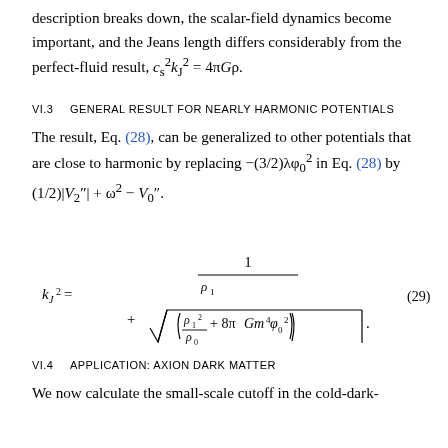description breaks down, the scalar-field dynamics become important, and the Jeans length differs considerably from the perfect-fluid result, c²_s k²_J = 4πGρ.
VI.3   GENERAL RESULT FOR NEARLY HARMONIC POTENTIALS
The result, Eq. (28), can be generalized to other potentials that are close to harmonic by replacing −(3/2)λφ²₀ in Eq. (28) by (1/2)|V₂″| + ω² − V₀″.
VI.4   APPLICATION: AXION DARK MATTER
We now calculate the small-scale cutoff in the cold-dark-